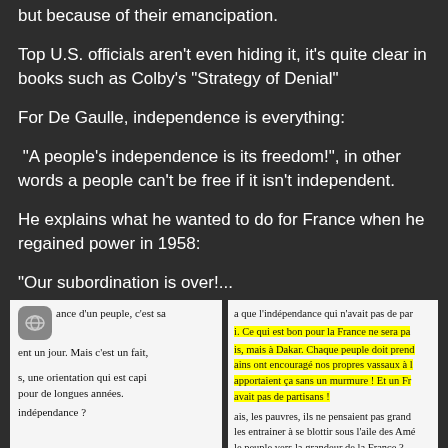but because of their emancipation.
Top U.S. officials aren't even hiding it, it's quite clear in books such as Colby's "Strategy of Denial"
For De Gaulle, independence is everything:
"A people's independence is its freedom!", in other words a people can't be free if it isn't independent.
He explains what he wanted to do for France when he regained power in 1958:
"Our subordination is over!...
[Figure (screenshot): Two side-by-side screenshots of French text from a book. Left panel shows text beginning with 'ance d'un peuple, c'est sa' and continuing with 'ent un jour. Mais c'est un fait,' and 's, une orientation qui est capi pour de longues années.' Right panel shows text with a yellow-highlighted passage: 'Ce qui est bon pour la France ne sera pa' followed by more French text about Dakar and vassals.]